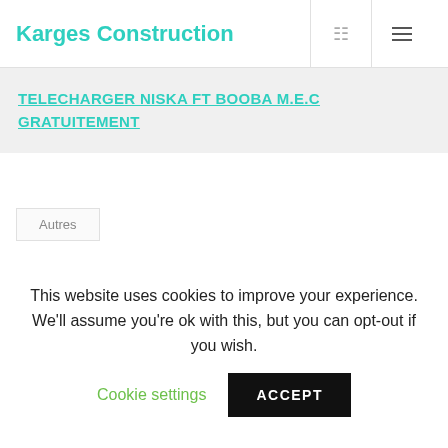Karges Construction
TELECHARGER NISKA FT BOOBA M.E.C GRATUITEMENT
Autres
[Figure (other): Row of social media sharing icon buttons]
This website uses cookies to improve your experience. We'll assume you're ok with this, but you can opt-out if you wish.
Cookie settings
ACCEPT